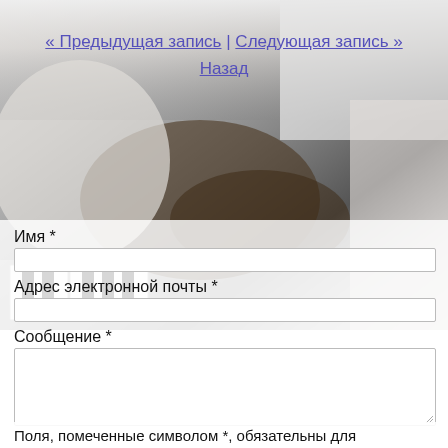« Предыдущая запись | Следующая запись »
Назад
[Figure (photo): Background photo of a person playing a grand piano, showing white piano keys and hands on the keyboard in a grayscale/muted tone]
Имя *
Адрес электронной почты *
Сообщение *
Поля, помеченные символом *, обязательны для